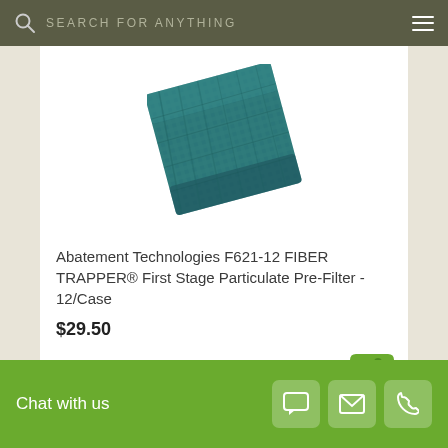SEARCH FOR ANYTHING
[Figure (photo): Blue/teal fiber filter pad (Abatement Technologies F621-12) shown at slight angle on white background]
Abatement Technologies F621-12 FIBER TRAPPER® First Stage Particulate Pre-Filter - 12/Case
$29.50
[Figure (photo): HEPA filter panel with dark frame partially visible at bottom of card, with green price tag icon overlay]
Chat with us